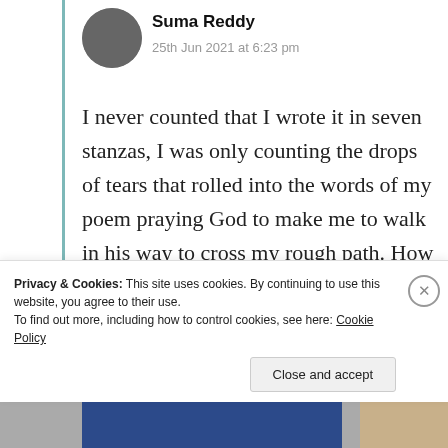Suma Reddy
25th Jun 2021 at 6:23 pm
I never counted that I wrote it in seven stanzas, I was only counting the drops of tears that rolled into the words of my poem praying God to make me to walk in his way to cross my rough path. How can I miss to say that your comments are always and forever my precious Jewelz. Thank you very
Privacy & Cookies: This site uses cookies. By continuing to use this website, you agree to their use.
To find out more, including how to control cookies, see here: Cookie Policy
Close and accept